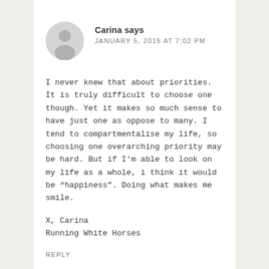[Figure (illustration): Gray circular avatar icon showing a generic person silhouette (head and shoulders)]
Carina says
JANUARY 5, 2015 AT 7:02 PM
I never knew that about priorities. It is truly difficult to choose one though. Yet it makes so much sense to have just one as oppose to many. I tend to compartmentalise my life, so choosing one overarching priority may be hard. But if I'm able to look on my life as a whole, i think it would be "happiness". Doing what makes me smile.
X, Carina
Running White Horses
REPLY